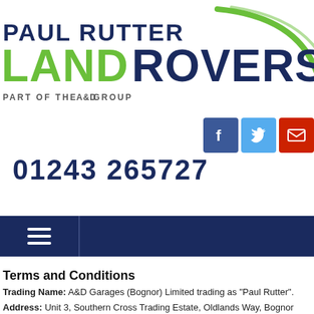[Figure (logo): Paul Rutter Land Rovers logo with green arc, showing 'PAUL RUTTER' in dark navy above 'LAND' in green and 'ROVERS' in dark navy, with 'PART OF THE A&D GROUP' tagline]
[Figure (infographic): Social media icons: Facebook (blue), Twitter (light blue), Email (red)]
01243 265727
[Figure (infographic): Dark navy navigation bar with hamburger menu icon on left]
Terms and Conditions
Trading Name: A&D Garages (Bognor) Limited trading as "Paul Rutter".
Address: Unit 3, Southern Cross Trading Estate, Oldlands Way, Bognor Regis, West Sussex, PO22 9SA